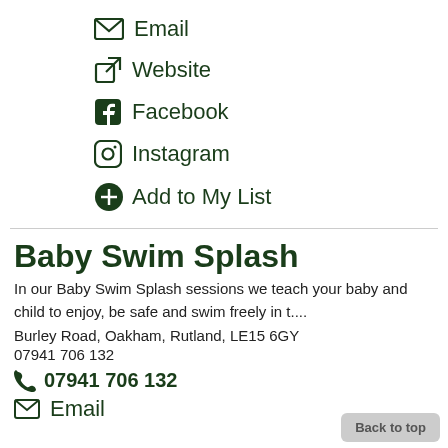Email
Website
Facebook
Instagram
Add to My List
Baby Swim Splash
In our Baby Swim Splash sessions we teach your baby and child to enjoy, be safe and swim freely in t....
Burley Road, Oakham, Rutland, LE15 6GY
07941 706 132
07941 706 132
Email